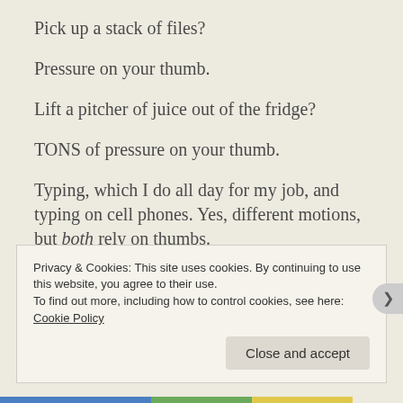Pick up a stack of files?
Pressure on your thumb.
Lift a pitcher of juice out of the fridge?
TONS of pressure on your thumb.
Typing, which I do all day for my job, and typing on cell phones. Yes, different motions, but both rely on thumbs.
Getting dressed??? Try it with your thumb taped to the
Privacy & Cookies: This site uses cookies. By continuing to use this website, you agree to their use.
To find out more, including how to control cookies, see here: Cookie Policy
Close and accept